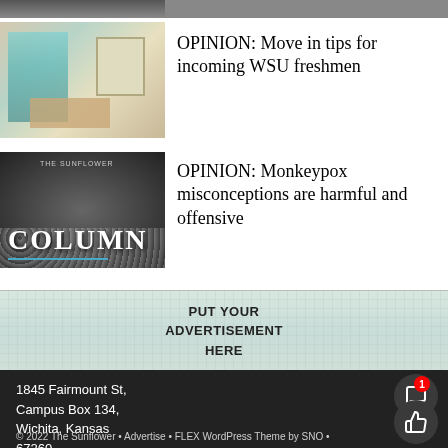[Figure (photo): Partially cropped photo at top of page, appears to show a person]
[Figure (illustration): Illustration of a dorm room or apartment interior with stairs, window, and moving boxes in warm tones]
OPINION: Move in tips for incoming WSU freshmen
[Figure (photo): Black and white photo with sunflowers and 'Column' text overlay with The Sunflower newspaper branding]
OPINION: Monkeypox misconceptions are harmful and offensive
[Figure (other): Advertisement placeholder with crinkled paper texture reading PUT YOUR ADVERTISEMENT HERE]
1845 Fairmount St, Campus Box 134, Wichita, Kansas 67260
© 2022 The Sunflower • Advertise • FLEX WordPress Theme by SNO •